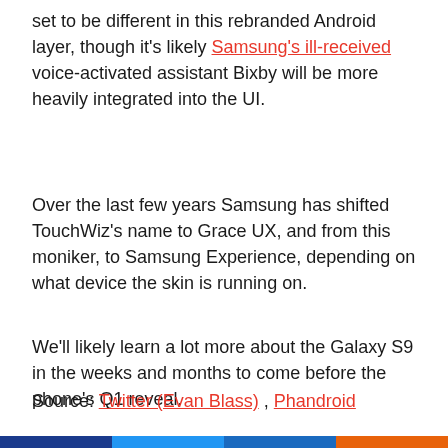set to be different in this rebranded Android layer, though it's likely Samsung's ill-received voice-activated assistant Bixby will be more heavily integrated into the UI.
Over the last few years Samsung has shifted TouchWiz's name to Grace UX, and from this moniker, to Samsung Experience, depending on what device the skin is running on.
We'll likely learn a lot more about the Galaxy S9 in the weeks and months to come before the phone's Q1 reveal.
Source: Twitter (Evan Blass) , Phandroid